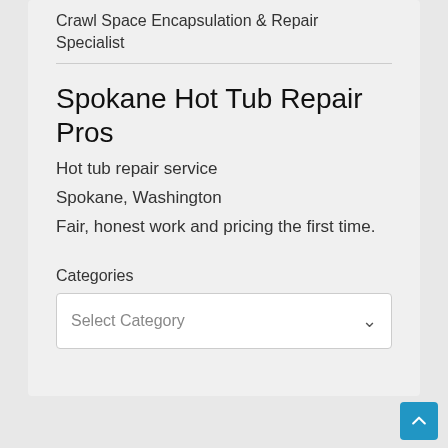Crawl Space Encapsulation & Repair Specialist
Spokane Hot Tub Repair Pros
Hot tub repair service
Spokane, Washington
Fair, honest work and pricing the first time.
Categories
Select Category